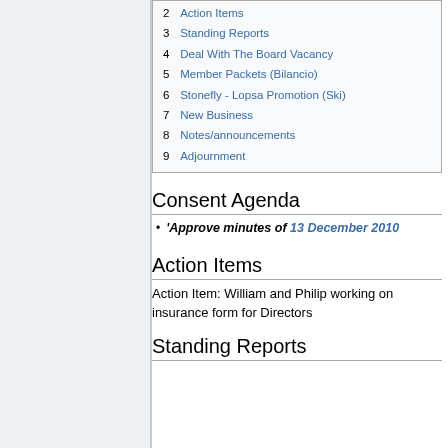2  Action Items
3  Standing Reports
4  Deal With The Board Vacancy
5  Member Packets (Bilancio)
6  Stonefly - Lopsa Promotion (Ski)
7  New Business
8  Notes/announcements
9  Adjournment
Consent Agenda
'Approve minutes of 13 December 2010
Action Items
Action Item: William and Philip working on insurance form for Directors
Standing Reports